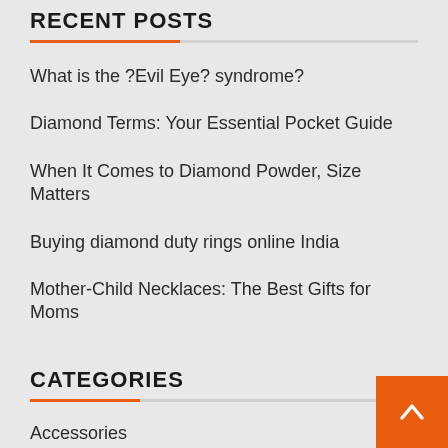RECENT POSTS
What is the ?Evil Eye? syndrome?
Diamond Terms: Your Essential Pocket Guide
When It Comes to Diamond Powder, Size Matters
Buying diamond duty rings online India
Mother-Child Necklaces: The Best Gifts for Moms
CATEGORIES
Accessories
Jewelry
Ore
Ring